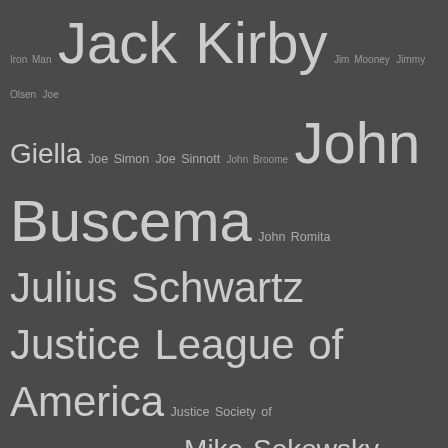[Figure (infographic): Tag cloud of comic book creators and characters on a dark gray background. Names appear in varying font sizes indicating frequency/popularity. Visible tags include: Iron Man, Jack Kirby, Jim Mooney, Jimmy Olsen, Joe Giella, Joe Simon, Joe Sinnott, John Broome, John Buscema, John Romita, Julius Schwartz, Justice League of America, Justice Society of America, Len Wein, Mike Friedrich, Mike Sekowsky, Mister Fantastic, Mort Weisinger, Murphy Anderson, Neal Adams, Quicksilver, Robert Kanigher, Robin, Roy Thomas, Sal Buscema, Sandman, Scarlet Witch, Sid Greene, Spider-Man, Stan Lee, Sub-Mariner, Superman, Thor, Tom Palmer, Vince Colletta, Vision, Wasp, Wonder Woman, X-Men]